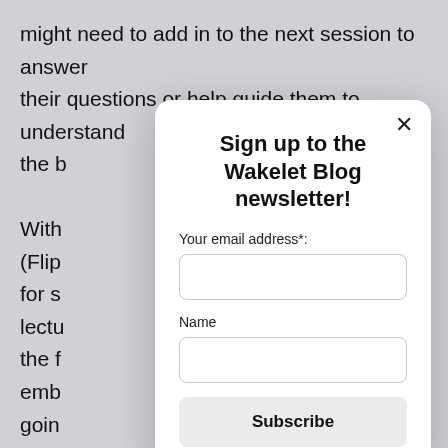might need to add in to the next session to answer their questions or help guide them to understand the b... With... (Flip... for s... lectu... the f... emb... goin... alth... they... their...
Sign up to the Wakelet Blog newsletter!
Your email address*:
Name
Subscribe